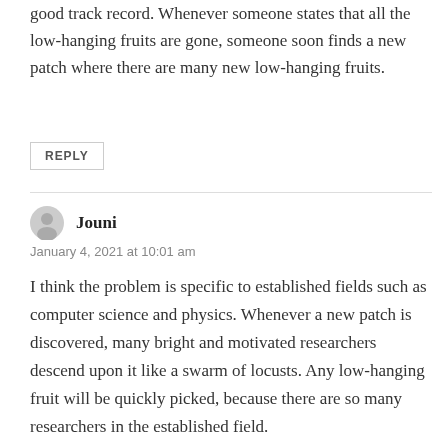good track record. Whenever someone states that all the low-hanging fruits are gone, someone soon finds a new patch where there are many new low-hanging fruits.
REPLY
Jouni
January 4, 2021 at 10:01 am
I think the problem is specific to established fields such as computer science and physics. Whenever a new patch is discovered, many bright and motivated researchers descend upon it like a swarm of locusts. Any low-hanging fruit will be quickly picked, because there are so many researchers in the established field.